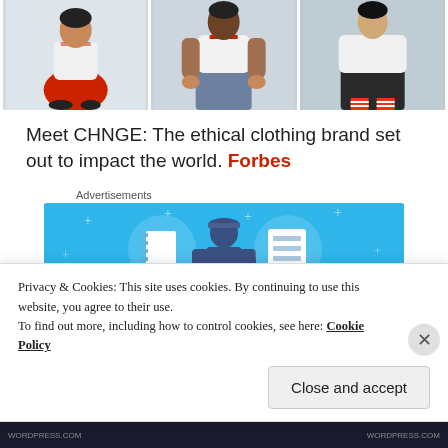[Figure (photo): Three fashion photos showing models wearing CHNGE brand white t-shirts. Left: young woman in red pants and black sneakers sitting. Center: man in jeans with hands on legs. Right: person in white jacket with red striped socks.]
Meet CHNGE: The ethical clothing brand set out to impact the world. Forbes
Advertisements
[Figure (illustration): Blue advertisement banner with illustrated icons: a notebook, a blue person wearing a hard hat, and a server/list icon. Plus signs scattered across the background.]
Privacy & Cookies: This site uses cookies. By continuing to use this website, you agree to their use.
To find out more, including how to control cookies, see here: Cookie Policy
Close and accept